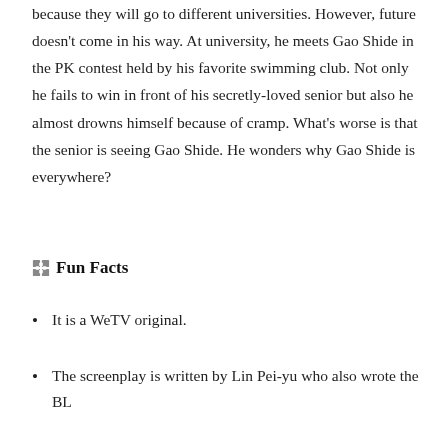because they will go to different universities. However, future doesn't come in his way. At university, he meets Gao Shide in the PK contest held by his favorite swimming club. Not only he fails to win in front of his secretly-loved senior but also he almost drowns himself because of cramp. What's worse is that the senior is seeing Gao Shide. He wonders why Gao Shide is everywhere?
Fun Facts
It is a WeTV original.
The screenplay is written by Lin Pei-yu who also wrote the BL